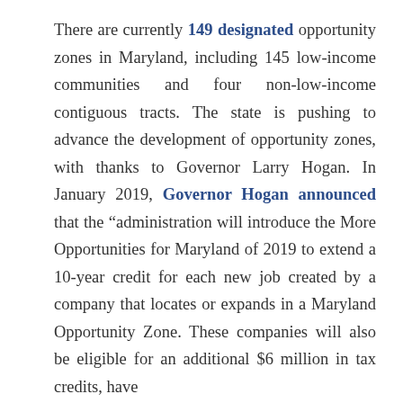There are currently 149 designated opportunity zones in Maryland, including 145 low-income communities and four non-low-income contiguous tracts. The state is pushing to advance the development of opportunity zones, with thanks to Governor Larry Hogan. In January 2019, Governor Hogan announced that the “administration will introduce the More Opportunities for Maryland of 2019 to extend a 10-year credit for each new job created by a company that locates or expands in a Maryland Opportunity Zone. These companies will also be eligible for an additional $6 million in tax credits, have